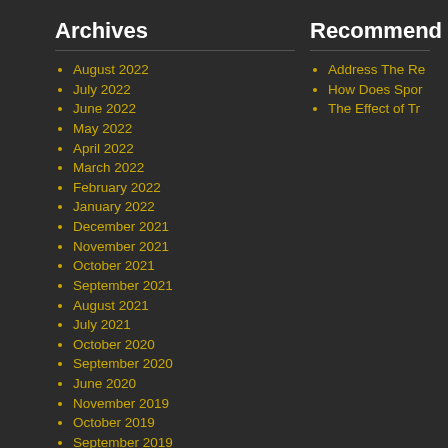Archives
August 2022
July 2022
June 2022
May 2022
April 2022
March 2022
February 2022
January 2022
December 2021
November 2021
October 2021
September 2021
August 2021
July 2021
October 2020
September 2020
June 2020
November 2019
October 2019
September 2019
August 2019
July 2019
June 2019
May 2019
April 2019
March 2019
February 2019
January 2019
Recommend
Address The Re
How Does Spor
The Effect of Tr